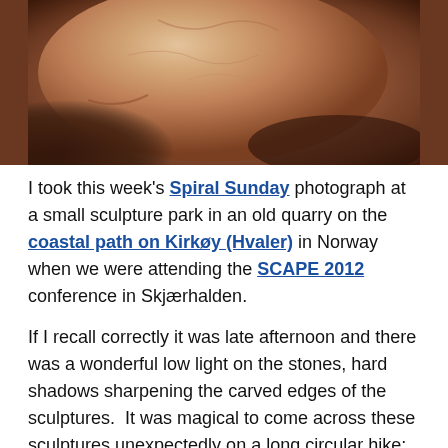[Figure (photo): Close-up photograph of a reddish-brown stone sculpture surface, showing curved carved rock with textures and shadows against darker rocky background]
I took this week's Spiral Sunday photograph at a small sculpture park in an old quarry on the coastal path on Kirkøy (Hvaler) in Norway when we were attending the SCAPE 2012 conference in Skjærhalden.
If I recall correctly it was late afternoon and there was a wonderful low light on the stones, hard shadows sharpening the carved edges of the sculptures.  It was magical to come across these sculptures unexpectedly on a long circular hike; I'd recommend a visit if you are in the area.
This entry was posted in Biodiversity and culture, Spirals and